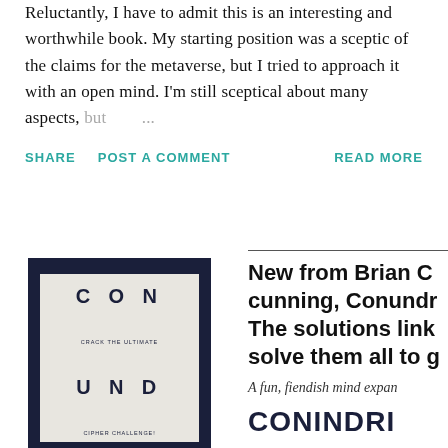Reluctantly, I have to admit this is an interesting and worthwhile book. My starting position was a sceptic of the claims for the metaverse, but I tried to approach it with an open mind. I'm still sceptical about many aspects, but ...
SHARE
POST A COMMENT
READ MORE
[Figure (photo): Book cover showing CON / UND with subtitle CRACK THE ULTIMATE and CIPHER CHALLENGE!]
New from Brian C cunning, Conundr The solutions link solve them all to g A fun, fiendish mind expan CONINDRI